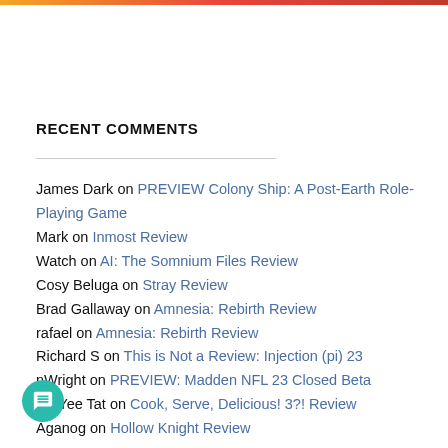RECENT COMMENTS
James Dark on PREVIEW Colony Ship: A Post-Earth Role-Playing Game
Mark on Inmost Review
Watch on AI: The Somnium Files Review
Cosy Beluga on Stray Review
Brad Gallaway on Amnesia: Rebirth Review
rafael on Amnesia: Rebirth Review
Richard S on This is Not a Review: Injection (pi) 23
nWright on PREVIEW: Madden NFL 23 Closed Beta
Ng Yee Tat on Cook, Serve, Delicious! 3?! Review
Aganog on Hollow Knight Review